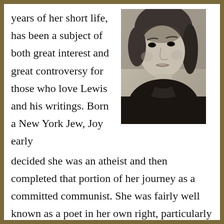years of her short life, has been a subject of both great interest and great controversy for those who love Lewis and his writings. Born a New York Jew, Joy early decided she was an atheist and then completed that portion of her journey as a committed communist. She was fairly well known as a poet in her own right, particularly in the circles in which she ran.
[Figure (photo): Black and white portrait photograph of a woman with braided hair pulled back, wearing a dark top, looking slightly to the side.]
Only after a troubling marriage, and the birth of